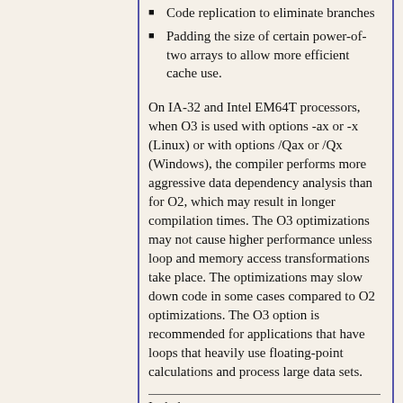Code replication to eliminate branches
Padding the size of certain power-of-two arrays to allow more efficient cache use.
On IA-32 and Intel EM64T processors, when O3 is used with options -ax or -x (Linux) or with options /Qax or /Qx (Windows), the compiler performs more aggressive data dependency analysis than for O2, which may result in longer compilation times. The O3 optimizations may not cause higher performance unless loop and memory access transformations take place. The optimizations may slow down code in some cases compared to O2 optimizations. The O3 option is recommended for applications that have loops that heavily use floating-point calculations and process large data sets.
Includes:
O3